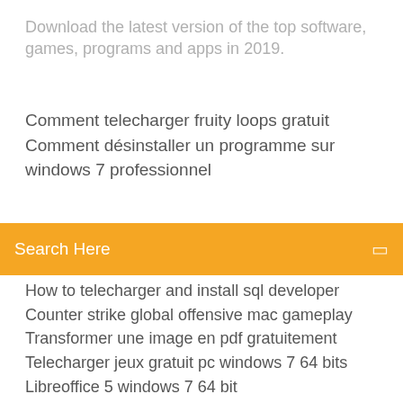Download the latest version of the top software, games, programs and apps in 2019.
Comment telecharger fruity loops gratuit
Comment désinstaller un programme sur windows 7 professionnel
Search Here
How to telecharger and install sql developer
Counter strike global offensive mac gameplay
Transformer une image en pdf gratuitement
Telecharger jeux gratuit pc windows 7 64 bits
Libreoffice 5 windows 7 64 bit
Sims 2 ultimate edition télécharger
Convertir une image en pdf logiciel gratuit
Regarder le match en direct gratuitement sur internet
Adobe xd white screen windows 10
Telecharger naruto shippuden ultimate ninja storm revolution mugen pc